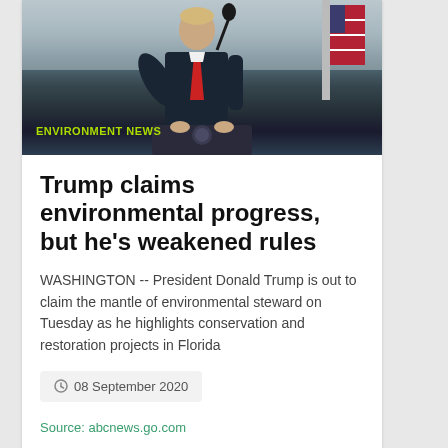[Figure (photo): Person speaking at a podium with a microphone, wearing a dark suit and red tie, likely at an official press event. Category label 'ENVIRONMENT NEWS' overlaid in green text at bottom left of image.]
Trump claims environmental progress, but he's weakened rules
WASHINGTON -- President Donald Trump is out to claim the mantle of environmental steward on Tuesday as he highlights conservation and restoration projects in Florida
08 September 2020
Source: abcnews.go.com